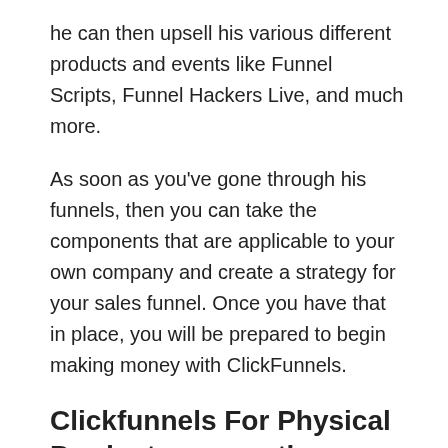he can then upsell his various different products and events like Funnel Scripts, Funnel Hackers Live, and much more.
As soon as you've gone through his funnels, then you can take the components that are applicable to your own company and create a strategy for your sales funnel. Once you have that in place, you will be prepared to begin making money with ClickFunnels.
Clickfunnels For Physical Products versus the competition
There are a few Clickfunnels For Physical Products alternatives out there which share a